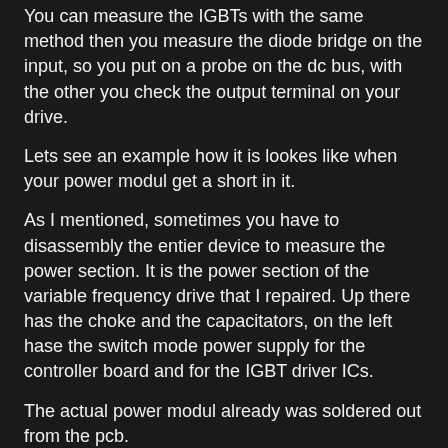You can measure the IGBTs with the same method then you measure the diode bridge on the input, so you put on a probe on the dc bus, with the other you check the output terminal on your drive.
Lets see an example how it is lookes like when your power modul get a short in it.
As I mentioned, sometimes you have to disassembly the entier device to measure the power section. It is the power section of the variable frequency drive that I repaired. Up there has the choke and the capacitators, on the left hase the switch mode power supply for the controller board and for the IGBT driver ICs.
The actual power modul already was soldered out from the pcb.
Here it is:
You can see it is an integrated power module, which has all the rectifier diodes and all the IGBTs in one package. This is a more effective way to save space in a drive, so it can be smaller.